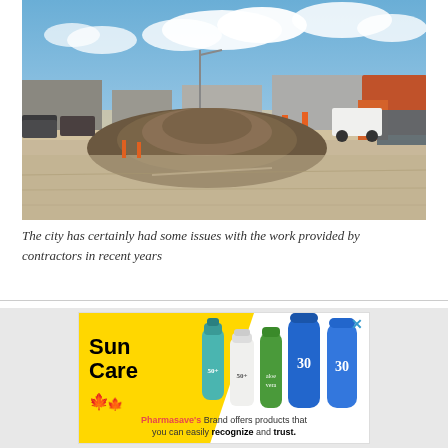[Figure (photo): Construction site photo showing a large mound of dirt/gravel in the foreground on a cleared area, with commercial buildings, vehicles including an orange utility truck, street lights, and a blue sky with clouds in the background.]
The city has certainly had some issues with the work provided by contractors in recent years
[Figure (photo): Advertisement for Pharmasave Sun Care products. Yellow background with 'Sun Care' in bold black text on the left. Multiple sun care product bottles displayed on the right (SPF 50 and SPF 30 products). Red maple leaf decorations in bottom left. Tagline: 'Pharmasave's Brand offers products that you can easily recognize and trust.' Close button (X) in top right.]